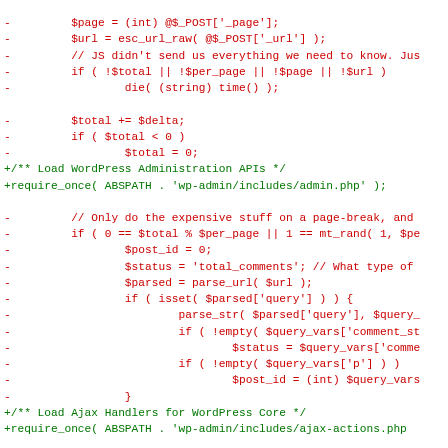Code diff showing WordPress PHP changes including $page, $url, $total, $delta, require_once for admin.php and ajax-actions.php, and comment count logic